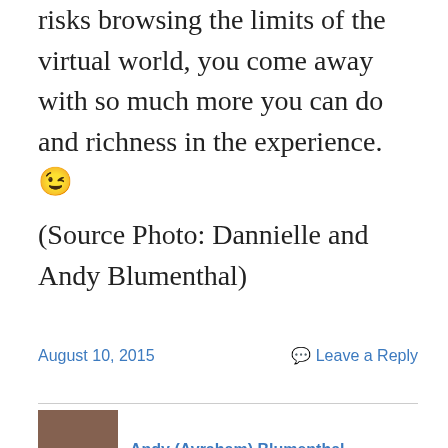risks browsing the limits of the virtual world, you come away with so much more you can do and richness in the experience. 😉
(Source Photo: Dannielle and Andy Blumenthal)
August 10, 2015
Leave a Reply
Andy (Avraham) Blumenthal